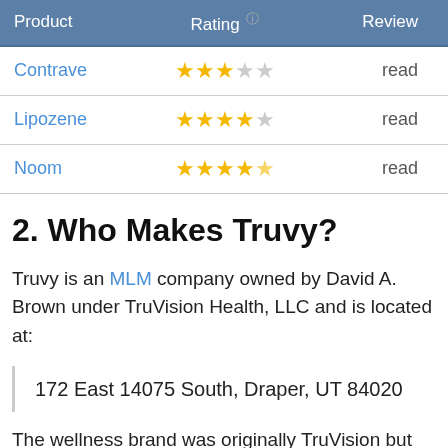| Product | Rating | Review |
| --- | --- | --- |
| Contrave | 3/5 stars | read |
| Lipozene | 4/5 stars | read |
| Noom | 4.5/5 stars | read |
2. Who Makes Truvy?
Truvy is an MLM company owned by David A. Brown under TruVision Health, LLC and is located at:
172 East 14075 South, Draper, UT 84020
The wellness brand was originally TruVision but underwent a new rebranding in May 2020.